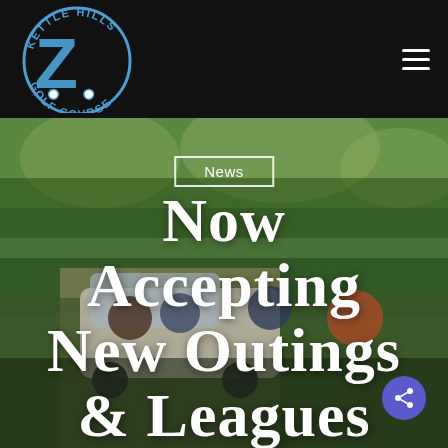[Figure (logo): Kettle Hills Golf Course logo: circular badge with 'KETTLE HILLS' on top arc, large blue letter Z with a golf cart graphic, 'GOLF COURSE' on bottom, on black background]
Navigation header with Kettle Hills Golf Course logo and hamburger menu icon
[Figure (photo): Outdoor photo of golfers riding in a golf cart on a tree-lined golf course path, green trees in background]
News
Now Accepting New Outings & Leagues For 2019